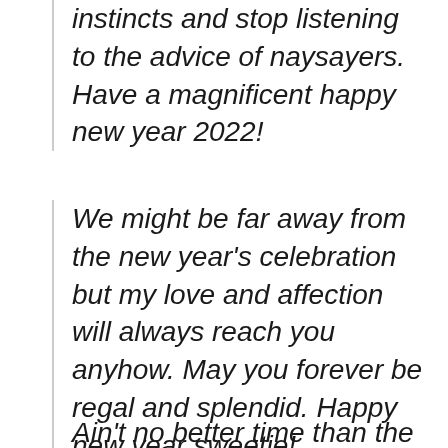instincts and stop listening to the advice of naysayers. Have a magnificent happy new year 2022!
We might be far away from the new year's celebration but my love and affection will always reach you anyhow. May you forever be regal and splendid. Happy new year sweetie!
Ain't no better time than the